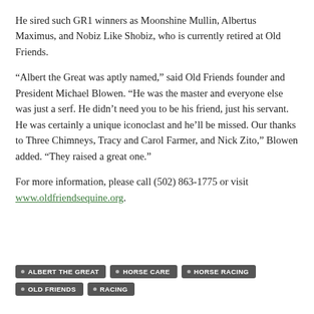He sired such GR1 winners as Moonshine Mullin, Albertus Maximus, and Nobiz Like Shobiz, who is currently retired at Old Friends.
“Albert the Great was aptly named,” said Old Friends founder and President Michael Blowen. “He was the master and everyone else was just a serf. He didn’t need you to be his friend, just his servant. He was certainly a unique iconoclast and he’ll be missed. Our thanks to Three Chimneys, Tracy and Carol Farmer, and Nick Zito,” Blowen added. “They raised a great one.”
For more information, please call (502) 863-1775 or visit www.oldfriendsequine.org.
ALBERT THE GREAT
HORSE CARE
HORSE RACING
OLD FRIENDS
RACING